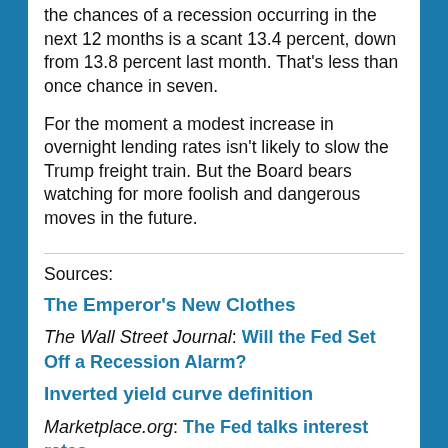the chances of a recession occurring in the next 12 months is a scant 13.4 percent, down from 13.8 percent last month. That's less than once chance in seven.
For the moment a modest increase in overnight lending rates isn't likely to slow the Trump freight train. But the Board bears watching for more foolish and dangerous moves in the future.
Sources:
The Emperor's New Clothes
The Wall Street Journal: Will the Fed Set Off a Recession Alarm?
Inverted yield curve definition
Marketplace.org: The Fed talks interest rates